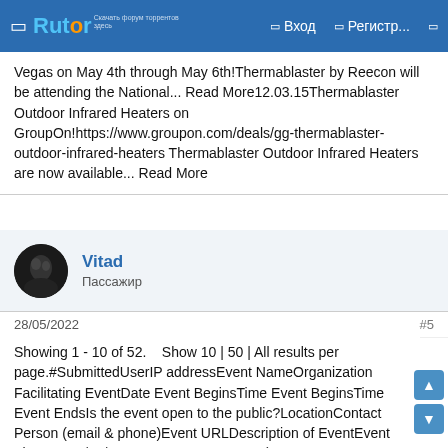Rutor | Вход | Регистр...
Vegas on May 4th through May 6th!Thermablaster by Reecon will be attending the National... Read More12.03.15Thermablaster Outdoor Infrared Heaters on GroupOn!https://www.groupon.com/deals/gg-thermablaster-outdoor-infrared-heaters Thermablaster Outdoor Infrared Heaters are now available... Read More
Vitad
Пассажир
28/05/2022	#5
Showing 1 - 10 of 52.    Show 10 | 50 | All results per page.#SubmittedUserIP addressEvent NameOrganization Facilitating EventDate Event BeginsTime Event BeginsTime Event EndsIs the event open to the public?LocationContact Person (email & phone)Event URLDescription of EventEvent Flyer13305/10/2022 - 16:05Anonymous (not verified)102.28.225.152KaninKalKaninKal05/15/20222 9:18